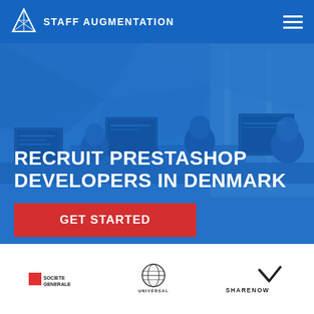STAFF AUGMENTATION
[Figure (photo): Office scene with developers working at computer workstations with multiple monitors, overlaid with a blue tint]
RECRUIT PRESTASHOP DEVELOPERS IN DENMARK
GET STARTED
[Figure (logo): Societe Generale logo]
[Figure (logo): Universal logo]
[Figure (logo): ShareNow logo]